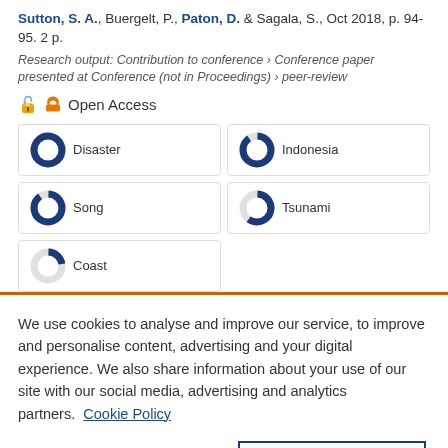Sutton, S. A., Buergelt, P., Paton, D. & Sagala, S., Oct 2018, p. 94-95. 2 p.
Research output: Contribution to conference › Conference paper presented at Conference (not in Proceedings) › peer-review
Open Access
[Figure (infographic): Five keyword fingerprint badges: Disaster (100%), Indonesia (90%), Song (90%), Tsunami (60%), Coast (22%), arranged in a 2-column grid]
We use cookies to analyse and improve our service, to improve and personalise content, advertising and your digital experience. We also share information about your use of our site with our social media, advertising and analytics partners.  Cookie Policy
Cookie settings
Accept all cookies